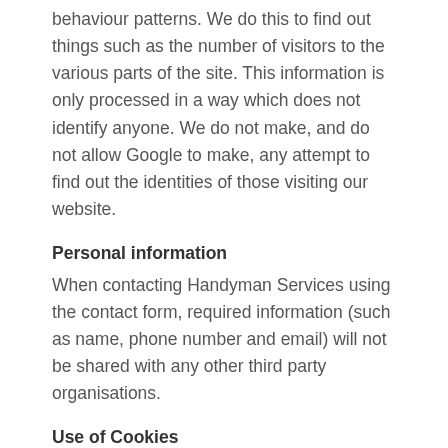behaviour patterns. We do this to find out things such as the number of visitors to the various parts of the site. This information is only processed in a way which does not identify anyone. We do not make, and do not allow Google to make, any attempt to find out the identities of those visiting our website.
Personal information
When contacting Handyman Services using the contact form, required information (such as name, phone number and email) will not be shared with any other third party organisations.
Use of Cookies
A cookie is a small text file containing...